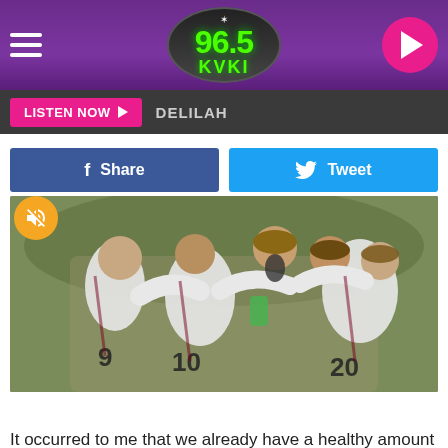[Figure (screenshot): 96.5 KVKI radio station mobile app header with purple gradient background, hamburger menu on left, 96.5 KVKI logo in center oval, and pink play button on right]
LISTEN NOW ▶  DELILAH
[Figure (screenshot): Facebook Share button (blue) and Twitter Tweet button (cyan) side by side]
[Figure (photo): Soccer players in white jerseys (numbers 9, 10, 20 visible) celebrating in a group huddle on a field]
It occurred to me that we already have a healthy amount of representation on the shelves of Wally-world!  Just strolling through the store I get lost in way too much will reveal tons of great, Louisiana made stuff you could be enjoying right